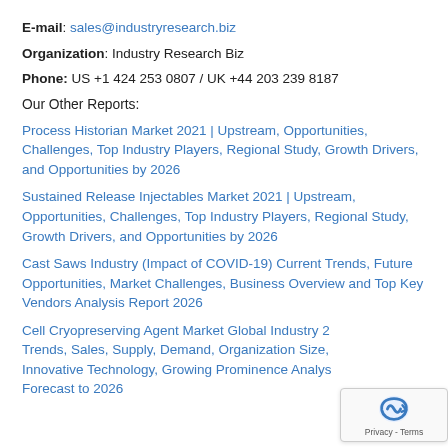E-mail: sales@industryresearch.biz
Organization: Industry Research Biz
Phone: US +1 424 253 0807 / UK +44 203 239 8187
Our Other Reports:
Process Historian Market 2021 | Upstream, Opportunities, Challenges, Top Industry Players, Regional Study, Growth Drivers, and Opportunities by 2026
Sustained Release Injectables Market 2021 | Upstream, Opportunities, Challenges, Top Industry Players, Regional Study, Growth Drivers, and Opportunities by 2026
Cast Saws Industry (Impact of COVID-19) Current Trends, Future Opportunities, Market Challenges, Business Overview and Top Key Vendors Analysis Report 2026
Cell Cryopreserving Agent Market Global Industry 2... Trends, Sales, Supply, Demand, Organization Size, Innovative Technology, Growing Prominence Analys... Forecast to 2026